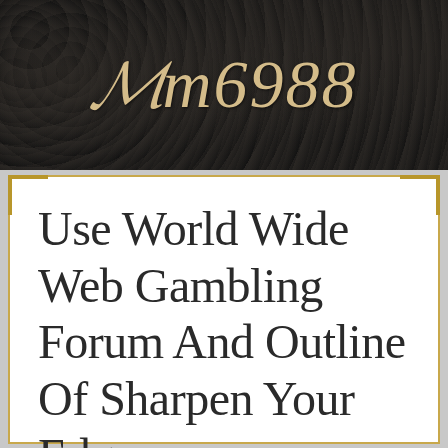Mm6988
Use World Wide Web Gambling Forum And Outline Of Sharpen Your Edge